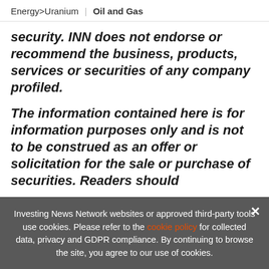Energy > Uranium | Oil and Gas
security. INN does not endorse or recommend the business, products, services or securities of any company profiled.
The information contained here is for information purposes only and is not to be construed as an offer or solicitation for the sale or purchase of securities. Readers should
[Figure (infographic): Advertisement banner: EXCLUSIVE 2022 INDUSTRIAL METALS OUTLOOK. TRENDS. FORECASTS. TOP STOCKS. with orange arrow button and vertical orange bar. Close X button visible.]
Investing News Network websites or approved third-party tools use cookies. Please refer to the cookie policy for collected data, privacy and GDPR compliance. By continuing to browse the site, you agree to our use of cookies.